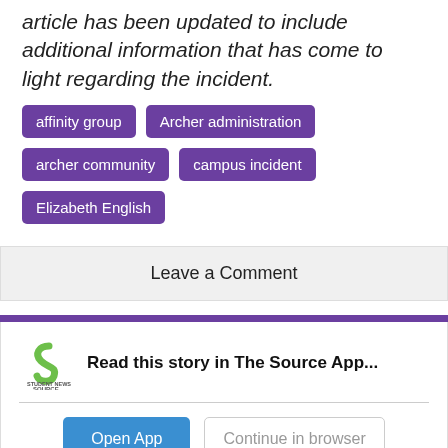article has been updated to include additional information that has come to light regarding the incident.
affinity group
Archer administration
archer community
campus incident
Elizabeth English
Leave a Comment
Read this story in The Source App...
Open App
Continue in browser